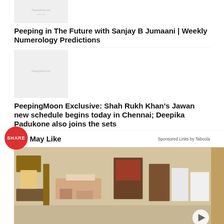[Figure (screenshot): Thumbnail image placeholder with PeepingMoon.com watermark logo for first article]
Peeping in The Future with Sanjay B Jumaani | Weekly Numerology Predictions
[Figure (screenshot): Thumbnail image placeholder with PeepingMoon.com watermark logo for second article]
PeepingMoon Exclusive: Shah Rukh Khan's Jawan new schedule begins today in Chennai; Deepika Padukone also joins the sets
SHARE
You May Like
Sponsored Links by Taboola
[Figure (photo): Photo of furniture showroom with sofas, chairs, shelves and home decor items on display, with a play button overlay in the bottom right corner]